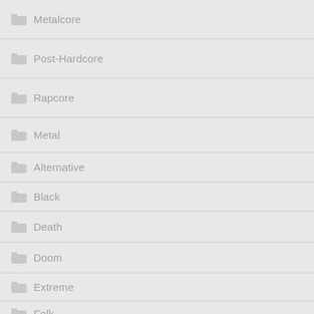Metalcore
Post-Hardcore
Rapcore
Metal
Alternative
Black
Death
Doom
Extreme
Folk